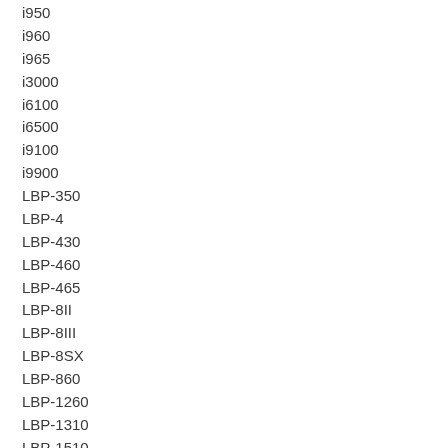i950
i960
i965
i3000
i6100
i6500
i9100
i9900
LBP-350
LBP-4
LBP-430
LBP-460
LBP-465
LBP-8II
LBP-8III
LBP-8SX
LBP-860
LBP-1260
LBP-1310
LBP-1510
LBP-1610
LBP-1810
LBP-1910
LBP-2050